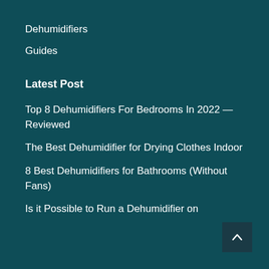Dehumidifiers
Guides
Latest Post
Top 8 Dehumidifiers For Bedrooms In 2022 — Reviewed
The Best Dehumidifier for Drying Clothes Indoor
8 Best Dehumidifiers for Bathrooms (Without Fans)
Is it Possible to Run a Dehumidifier on